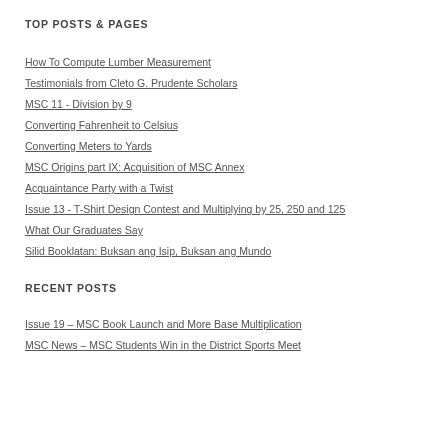TOP POSTS & PAGES
How To Compute Lumber Measurement
Testimonials from Cleto G. Prudente Scholars
MSC 11 - Division by 9
Converting Fahrenheit to Celsius
Converting Meters to Yards
MSC Origins part IX: Acquisition of MSC Annex
Acquaintance Party with a Twist
Issue 13 - T-Shirt Design Contest and Multiplying by 25, 250 and 125
What Our Graduates Say
Silid Booklatan: Buksan ang Isip, Buksan ang Mundo
RECENT POSTS
Issue 19 – MSC Book Launch and More Base Multiplication
MSC News – MSC Students Win in the District Sports Meet